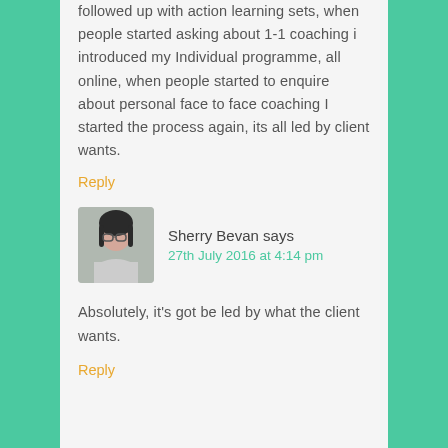followed up with action learning sets, when people started asking about 1-1 coaching i introduced my Individual programme, all online, when people started to enquire about personal face to face coaching I started the process again, its all led by client wants.
Reply
Sherry Bevan says
27th July 2016 at 4:14 pm
[Figure (photo): Profile photo of Sherry Bevan, a woman with dark hair and glasses]
Absolutely, it's got be led by what the client wants.
Reply